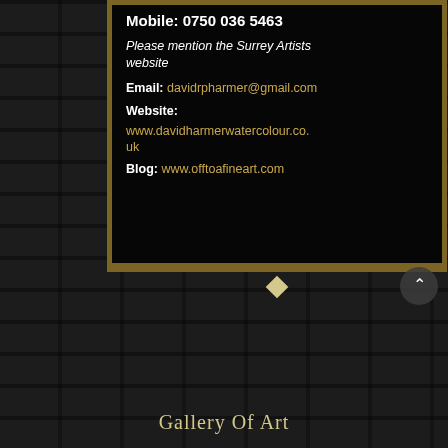Mobile: 0750 036 5463
Please mention the Surrey Artists website
Email: davidrpharmer@gmail.com
Website:
www.davidharmerwatercolour.co.uk
Blog: www.offtoafineart.com
Gallery Of Art